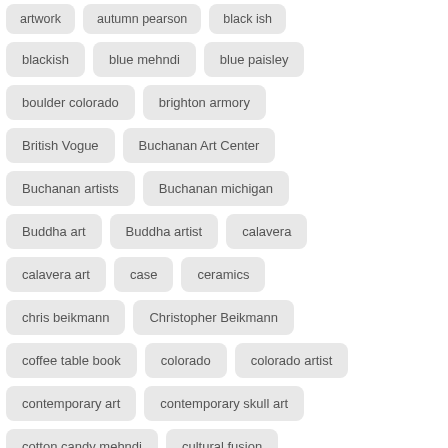artwork
autumn pearson
black ish
blackish
blue mehndi
blue paisley
boulder colorado
brighton armory
British Vogue
Buchanan Art Center
Buchanan artists
Buchanan michigan
Buddha art
Buddha artist
calavera
calavera art
case
ceramics
chris beikmann
Christopher Beikmann
coffee table book
colorado
colorado artist
contemporary art
contemporary skull art
cotton candy mehndi
cultural fusion
cultural fusion art
da vinci case